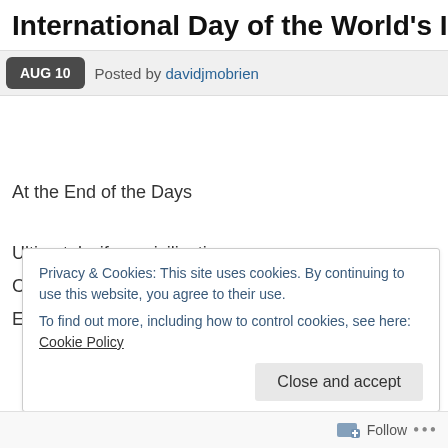International Day of the World's Indigen
AUG 10   Posted by davidjmobrien
At the End of the Days
Ultimately, if our civilization
Can't continue without further
Ecological destruction and
Privacy & Cookies: This site uses cookies. By continuing to use this website, you agree to their use.
To find out more, including how to control cookies, see here: Cookie Policy
Close and accept